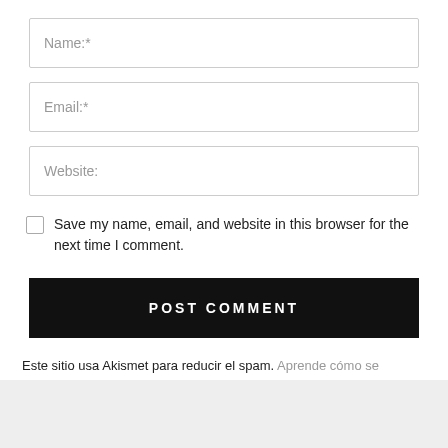Name:*
Email:*
Website:
Save my name, email, and website in this browser for the next time I comment.
POST COMMENT
Este sitio usa Akismet para reducir el spam. Aprende cómo se procesan los datos de tus comentarios.
SÍGUENOS